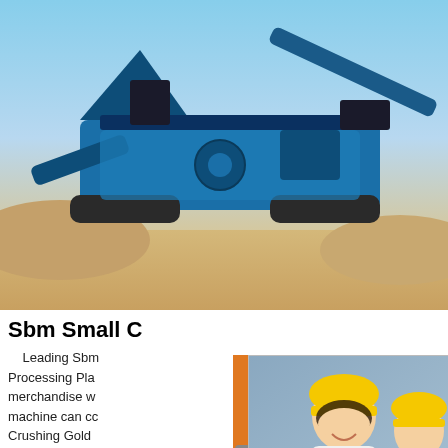[Figure (photo): Blue tracked mobile crushing machine/jaw crusher on sandy ground with blue sky background]
Sbm Small ...
Leading Sbm ... Processing Pla... merchandise w... machine can c... Crushing Gold ... quarryJaw Crusher Crushing Plant
[Figure (photo): Live Chat popup overlay with engineers in yellow hard hats, LIVE CHAT heading in red, Click for a Free Consultation, Chat now and Chat later buttons]
[Figure (photo): Right sidebar orange panel with crushing/milling machine images, Enjoy 3% discount yellow banner, Click to Chat button, Enquiry text]
[Figure (photo): Bottom photo of industrial crushing/processing plant with conveyor structures against blue sky]